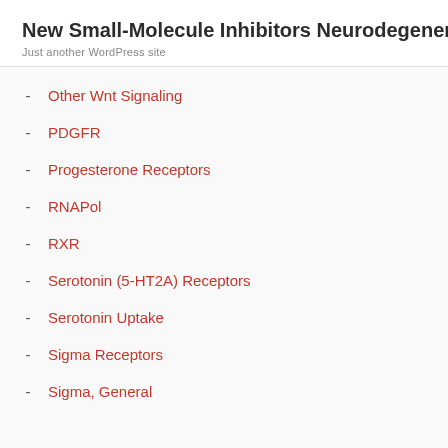New Small-Molecule Inhibitors Neurodegeneration a
Just another WordPress site
Other Wnt Signaling
PDGFR
Progesterone Receptors
RNAPol
RXR
Serotonin (5-HT2A) Receptors
Serotonin Uptake
Sigma Receptors
Sigma, General